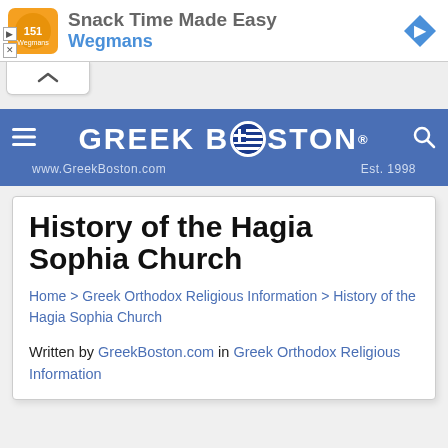[Figure (screenshot): Advertisement banner for Wegmans 'Snack Time Made Easy' with orange logo, ad text, and blue arrow icon]
[Figure (logo): Greek Boston website header logo with blue background, hamburger menu, Greek Boston text with Greek flag O, www.GreekBoston.com, Est. 1998, and search icon]
History of the Hagia Sophia Church
Home > Greek Orthodox Religious Information > History of the Hagia Sophia Church
Written by GreekBoston.com in Greek Orthodox Religious Information